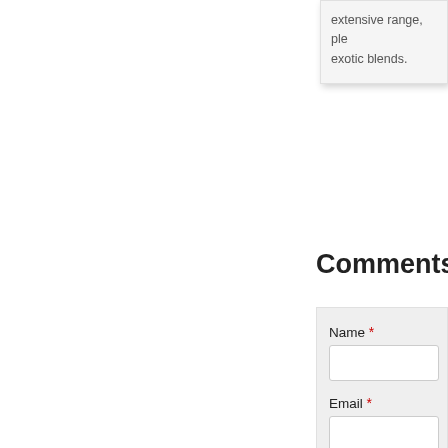extensive range, ple... exotic blends.
Comments
Name *
Email *
Comment *